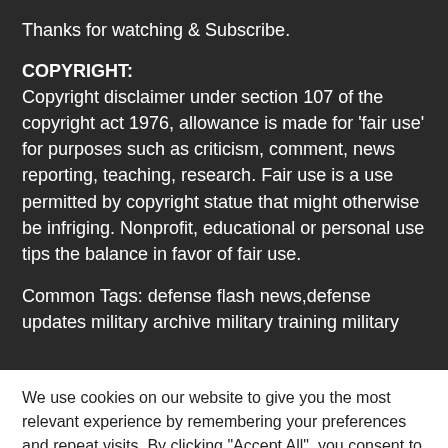Thanks for watching & Subscribe.
COPYRIGHT:
Copyright disclaimer under section 107 of the copyright act 1976, allowance is made for ‘fair use’ for purposes such as criticism, comment, news reporting, teaching, research. Fair use is a use permitted by copyright statue that might otherwise be infriging. Nonprofit, educational or personal use tips the balance in favor of fair use.
Common Tags: defense flash news,defense updates military archive military training military
We use cookies on our website to give you the most relevant experience by remembering your preferences and repeat visits. By clicking "Accept All", you consent to the use of ALL the cookies. However, you may visit "Cookie Settings" to provide a controlled consent.